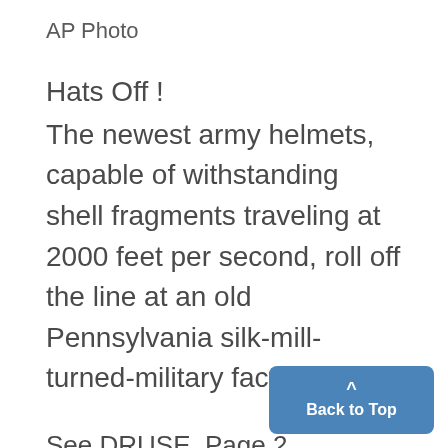AP Photo
Hats Off !
The newest army helmets, capable of withstanding shell fragments traveling at 2000 feet per second, roll off the line at an old Pennsylvania silk-mill-turned-military factory.
See DRUSE, Page 2
TODAY
Bookie luck
T HREE LUCKY students won't b